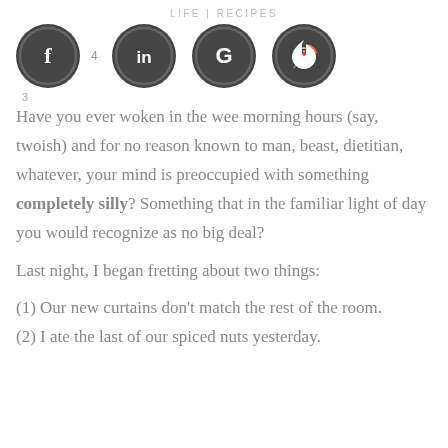LIFE | RECIPES
[Figure (illustration): Four dark circular social media icons: Facebook (f) with badge 4, LinkedIn (in), Google (G), Pinterest (p)]
Have you ever woken in the wee morning hours (say, twoish) and for no reason known to man, beast, dietitian, whatever, your mind is preoccupied with something completely silly? Something that in the familiar light of day you would recognize as no big deal?
Last night, I began fretting about two things:
(1) Our new curtains don't match the rest of the room.
(2) I ate the last of our spiced nuts yesterday.